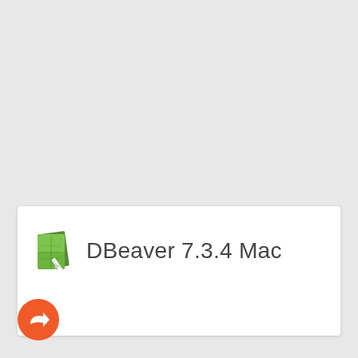[Figure (screenshot): White card panel on gray background showing DBeaver application icon (green leaf/document icon) alongside the text 'DBeaver 7.3.4 Mac' in light gray sans-serif font. A circular orange share/forward button appears in the bottom-left corner.]
DBeaver 7.3.4 Mac